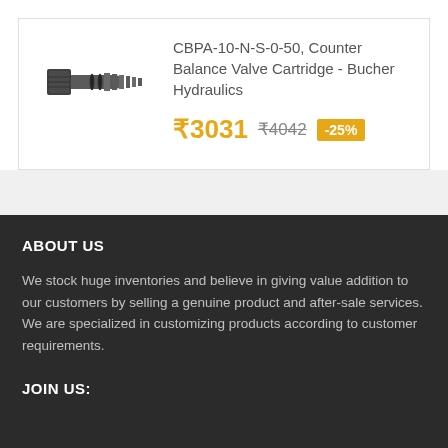[Figure (photo): Hydraulic valve cartridge component - metallic threaded cartridge valve]
CBPA-10-N-S-0-50, Counter Balance Valve Cartridge - Bucher Hydraulics
₹3031  ₹4042  -25%
ABOUT US
We stock huge inventories and believe in giving value addition to our customers by selling a genuine product and after-sale services. We are specialized in customizing products according to customer requirements.
JOIN US: